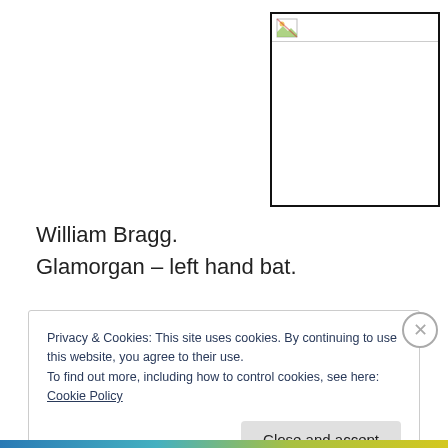[Figure (other): Broken/missing image placeholder with small broken image icon in top-left corner, bordered box]
William Bragg.
Glamorgan – left hand bat.
Privacy & Cookies: This site uses cookies. By continuing to use this website, you agree to their use.
To find out more, including how to control cookies, see here: Cookie Policy